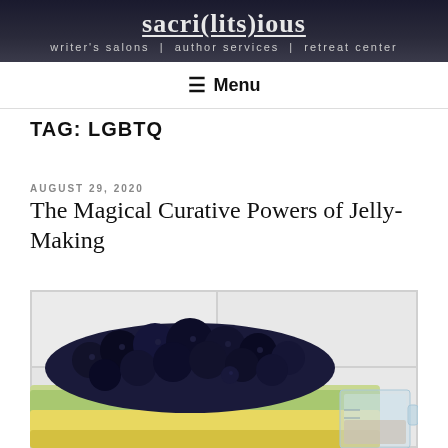sacri(lits)ious | writer's salons | author services | retreat center
≡ Menu
TAG: LGBTQ
AUGUST 29, 2020
The Magical Curative Powers of Jelly-Making
[Figure (photo): Photo of dark blackberries/blueberries in a light green/yellow rimmed dish on a white tile countertop, with a glass measuring cup visible to the right]